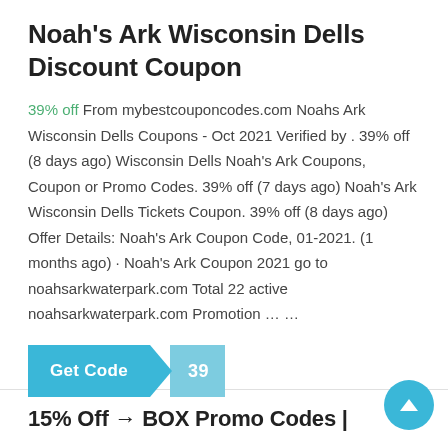Noah's Ark Wisconsin Dells Discount Coupon
39% off From mybestcouponcodes.com Noahs Ark Wisconsin Dells Coupons - Oct 2021 Verified by . 39% off (8 days ago) Wisconsin Dells Noah's Ark Coupons, Coupon or Promo Codes. 39% off (7 days ago) Noah's Ark Wisconsin Dells Tickets Coupon. 39% off (8 days ago) Offer Details: Noah's Ark Coupon Code, 01-2021. (1 months ago) · Noah's Ark Coupon 2021 go to noahsarkwaterpark.com Total 22 active noahsarkwaterpark.com Promotion … …
[Figure (other): Get Code button with coupon code '39' on teal background with arrow shape]
15% Off → BOX Promo Codes |